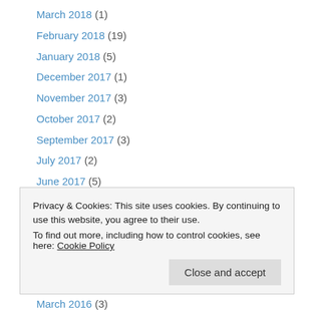March 2018 (1)
February 2018 (19)
January 2018 (5)
December 2017 (1)
November 2017 (3)
October 2017 (2)
September 2017 (3)
July 2017 (2)
June 2017 (5)
May 2017 (3)
April 2017 (1)
March 2017 (1)
February 2017 (1)
Privacy & Cookies: This site uses cookies. By continuing to use this website, you agree to their use.
To find out more, including how to control cookies, see here: Cookie Policy
March 2016 (3)